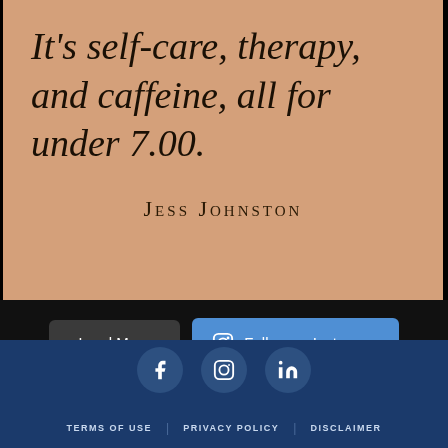[Figure (illustration): Instagram post card with sandy/peach background. Handwritten-style text reads: It's self-care, therapy, and caffeine, all for under 7.00. Attribution: Jess Johnston]
It's self-care, therapy, and caffeine, all for under 7.00.
Jess Johnston
Load More
Follow on Instagram
TERMS OF USE   PRIVACY POLICY   DISCLAIMER